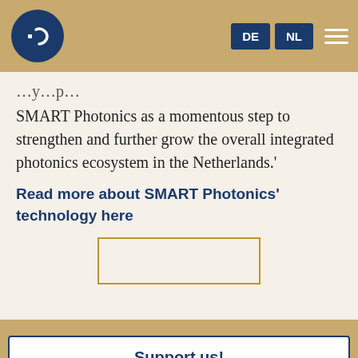[Figure (logo): Innovation Origins logo - circular dark blue badge with white IO symbol, in header navigation bar with DE and NL language buttons and hamburger menu]
SMART Photonics as a momentous step to strengthen and further grow the overall integrated photonics ecosystem in the Netherlands.'
Read more about SMART Photonics' technology here
[Figure (other): Partially visible rectangular image placeholder with gold border]
Support us!
Innovation Origins is an independent news platform that has an unconventional revenue